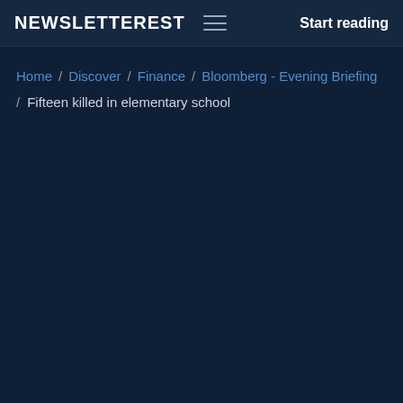NEWSLETTEREST   Start reading
Home / Discover / Finance / Bloomberg - Evening Briefing / Fifteen killed in elementary school